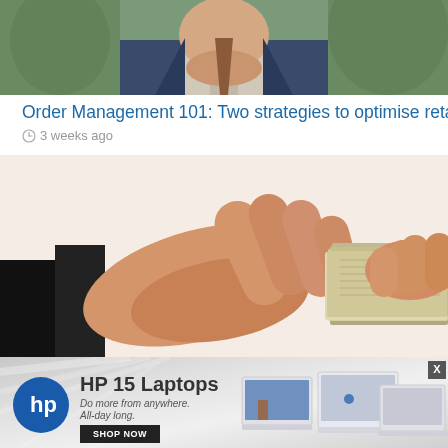[Figure (photo): Partial photo of a man in a suit, cropped at neck/chin level, blurred green background]
Order Management 101: Two strategies to optimise retail fu
3 weeks ago
[Figure (photo): Close-up photo of two hands exchanging a stack of currency/banknotes, light background]
[Figure (other): HP advertisement banner: HP 15 Laptops - Do more from anywhere. All-day long. SHOP NOW button with laptop product images]